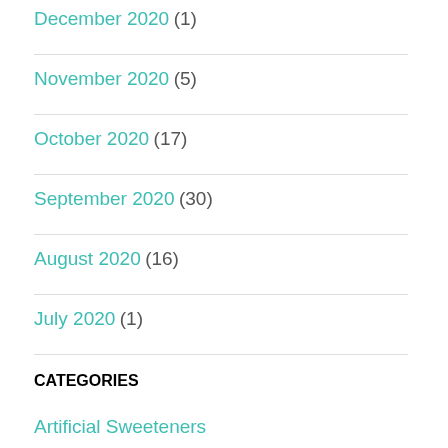December 2020 (1)
November 2020 (5)
October 2020 (17)
September 2020 (30)
August 2020 (16)
July 2020 (1)
CATEGORIES
Artificial Sweeteners